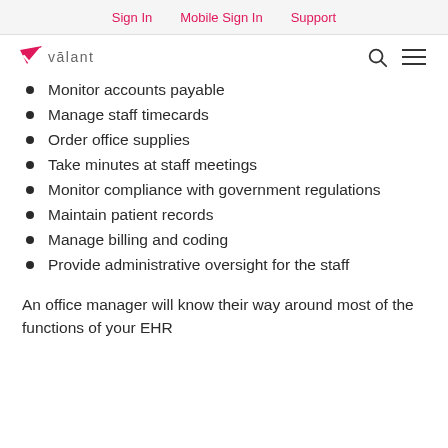Sign In   Mobile Sign In   Support
[Figure (logo): Valant logo with pink checkmark and 'valant' text, plus search and menu icons]
Monitor accounts payable
Manage staff timecards
Order office supplies
Take minutes at staff meetings
Monitor compliance with government regulations
Maintain patient records
Manage billing and coding
Provide administrative oversight for the staff
An office manager will know their way around most of the functions of your EHR